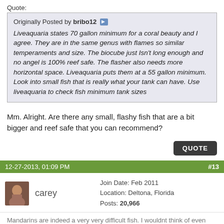Quote:
Originally Posted by bribo12
Liveaquaria states 70 gallon minimum for a coral beauty and I agree. They are in the same genus with flames so similar temperaments and size. The biocube just Isn't long enough and no angel is 100% reef safe. The flasher also needs more horizontal space. Liveaquaria puts them at a 55 gallon minimum. Look into small fish that is really what your tank can have. Use liveaquaria to check fish minimum tank sizes
Mm. Alright. Are there any small, flashy fish that are a bit bigger and reef safe that you can recommend?
QUOTE
12-27-2013, 01:09 PM   #13
carey
Join Date: Feb 2011
Location: Deltona, Florida
Posts: 20,966
Mandarins are indeed a very very difficult fish. I wouldnt think of even trying one unless you are ready for alot of work and expense.